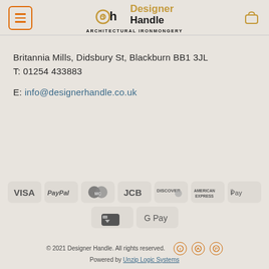[Figure (logo): Designer Handle Architectural Ironmongery logo with menu button and cart icon in header]
Britannia Mills, Didsbury St, Blackburn BB1 3JL
T: 01254 433883
E: info@designerhandle.co.uk
[Figure (infographic): Payment method icons: VISA, PayPal, MasterCard, JCB, Discover, American Express, Apple Pay, Google Pay, and another card icon]
© 2021 Designer Handle. All rights reserved.
Powered by Unzip Logic Systems